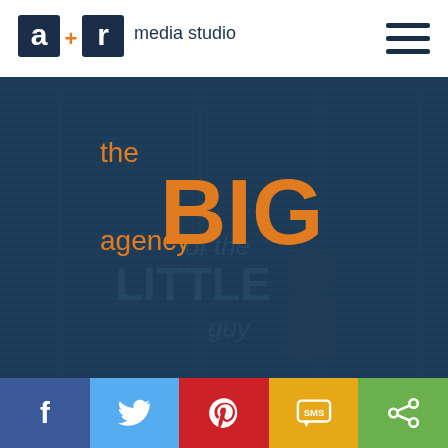[Figure (logo): a+r media studio logo — stylized letters 'a+r' in bold dark blue/black followed by 'media studio' in lighter weight]
[Figure (illustration): Dark navy hero banner with woodgrain texture lines, blueprint-style overlay text reading 'the BIG agency' in orange in the foreground, and ghosted text 'of the LITTLE guy' with a faint silhouette figure in the background]
[Figure (infographic): Social sharing bar with five colored buttons: Facebook (blue), Twitter (light blue), Pinterest (red), SMS (yellow/gold), Share (green)]